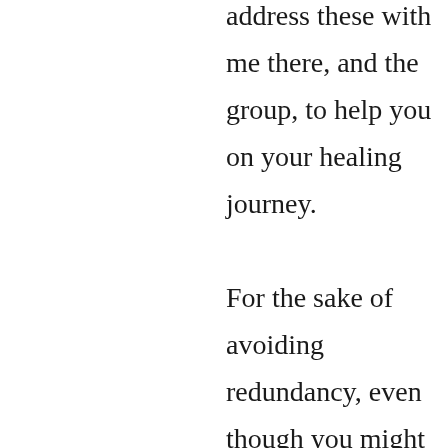address these with me there, and the group, to help you on your healing journey. For the sake of avoiding redundancy, even though you might be discussing this with your therapist, with me or others in our support group, or in a group, you attend near to